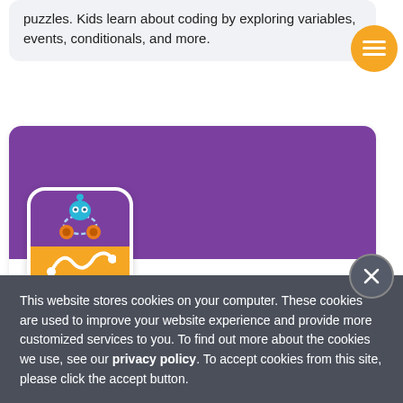puzzles. Kids learn about coding by exploring variables, events, conditionals, and more.
[Figure (screenshot): Orange circular menu button with three horizontal white lines (hamburger icon)]
[Figure (screenshot): App card for 'Path for Dash' with purple header banner and app icon showing a blue robot on purple/orange background. App title: Path, subtitle: FOR DASH, age badge: 6yr+]
This website stores cookies on your computer. These cookies are used to improve your website experience and provide more customized services to you. To find out more about the cookies we use, see our privacy policy. To accept cookies from this site, please click the accept button.
I Accept